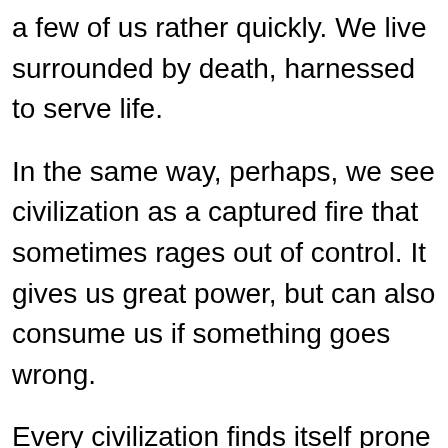a few of us rather quickly. We live surrounded by death, harnessed to serve life.

In the same way, perhaps, we see civilization as a captured fire that sometimes rages out of control. It gives us great power, but can also consume us if something goes wrong.

Every civilization finds itself prone to constant pressure. Just like most things in nature are trying to kill you, in civilization, most people are trying to engage it in self-